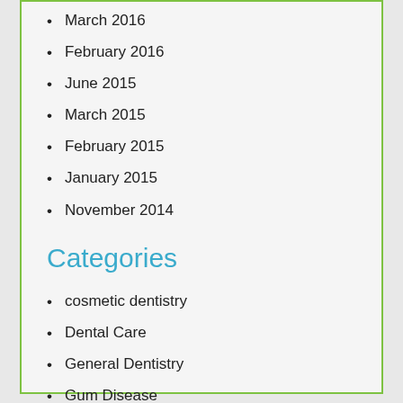March 2016
February 2016
June 2015
March 2015
February 2015
January 2015
November 2014
Categories
cosmetic dentistry
Dental Care
General Dentistry
Gum Disease
Periodontal Treatment
Uncategorized